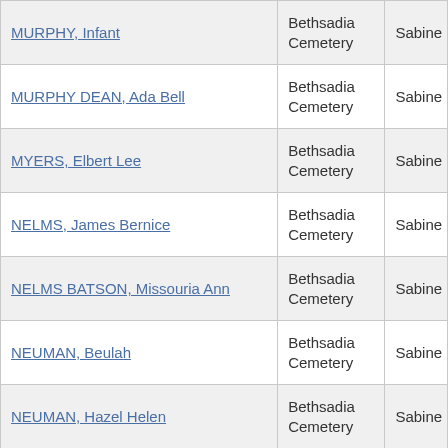| MURPHY, Infant | Bethsadia Cemetery | Sabine |
| MURPHY DEAN, Ada Bell | Bethsadia Cemetery | Sabine |
| MYERS, Elbert Lee | Bethsadia Cemetery | Sabine |
| NELMS, James Bernice | Bethsadia Cemetery | Sabine |
| NELMS BATSON, Missouria Ann | Bethsadia Cemetery | Sabine |
| NEUMAN, Beulah | Bethsadia Cemetery | Sabine |
| NEUMAN, Hazel Helen | Bethsadia Cemetery | Sabine |
| NEUMAN, Leo Lewis | Bethsadia Cemetery | Sabine |
| NEUMAN EGLOFF, Lucille | Bethsadia Cemetery | Sabine |